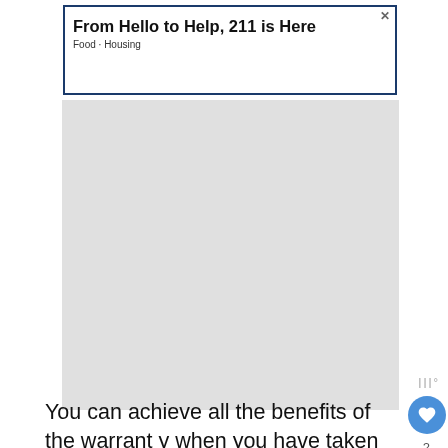[Figure (other): Top advertisement banner: 'From Hello to Help, 211 is Here' with subtext 'Food · Housing', blue border, close X button]
[Figure (other): Large gray advertisement space placeholder with Weatherbug logo watermark in bottom-right corner]
You can achieve all the benefits of the warranty when you have taken it at the start of the insurance policy.
You will get maximum benefits out of it if you analyze all the factors that are affecting the cost of
[Figure (other): What's Next promo box with truck image: 'How Much Does a Ford...']
[Figure (other): Bottom advertisement banner with family image: 'Give support to people recovering from crisis. Make a year-end donation.' with close X button and Weatherbug logo]